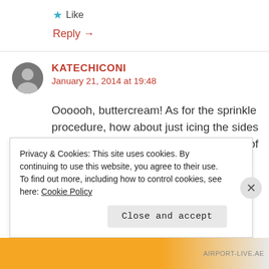★ Like
Reply →
KATECHICONI
January 21, 2014 at 19:48
Oooooh, buttercream! As for the sprinkle procedure, how about just icing the sides first and rolling the cake through a tray of
Privacy & Cookies: This site uses cookies. By continuing to use this website, you agree to their use.
To find out more, including how to control cookies, see here: Cookie Policy
Close and accept